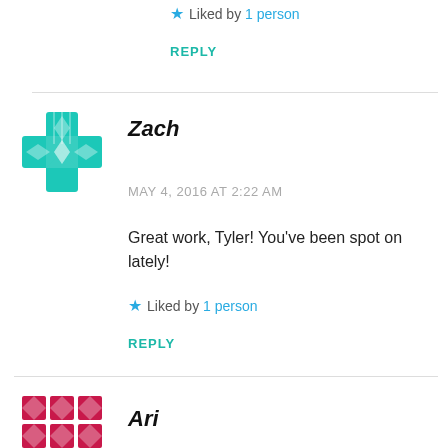★ Liked by 1 person
REPLY
[Figure (illustration): Teal geometric snowflake/cross avatar for user Zach]
Zach
MAY 4, 2016 AT 2:22 AM
Great work, Tyler! You've been spot on lately!
★ Liked by 1 person
REPLY
[Figure (illustration): Pink/red geometric diamond pattern avatar for user Ari]
Ari